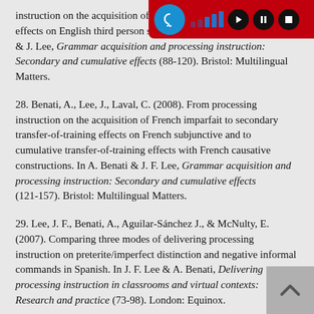instruction on the acquisition of English p... transfer-of-training effects on English third person singular present tense. In A.Benati & J. Lee, Grammar acquisition and processing instruction: Secondary and cumulative effects (88-120). Bristol: Multilingual Matters.
28. Benati, A., Lee, J., Laval, C. (2008). From processing instruction on the acquisition of French imparfait to secondary transfer-of-training effects on French subjunctive and to cumulative transfer-of-training effects with French causative constructions. In A. Benati & J. F. Lee, Grammar acquisition and processing instruction: Secondary and cumulative effects (121-157). Bristol: Multilingual Matters.
29. Lee, J. F., Benati, A., Aguilar-Sánchez J., & McNulty, E. (2007). Comparing three modes of delivering processing instruction on preterite/imperfect distinction and negative informal commands in Spanish. In J. F. Lee & A. Benati, Delivering processing instruction in classrooms and virtual contexts: Research and practice (73-98). London: Equinox.
30. Benati, A. (2006). The effects of processing instruction and meaning output-based instruction on the acquisition of the Italian